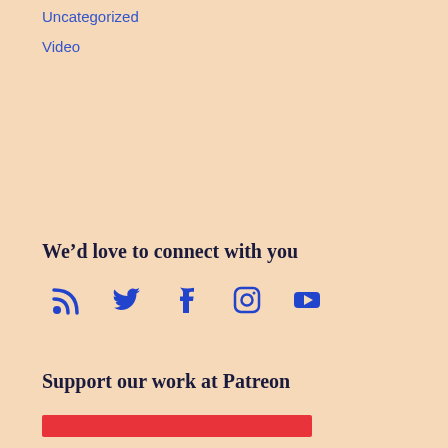Uncategorized
Video
We’d love to connect with you
[Figure (infographic): Social media icons: RSS, Twitter, Facebook, Instagram, YouTube]
Support our work at Patreon
[Figure (other): Red Patreon banner bar]